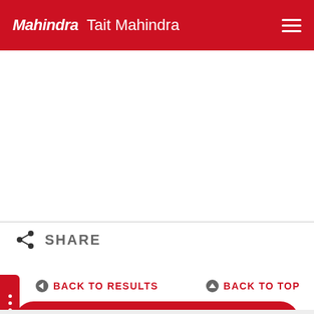Mahindra | Tait Mahindra
SHARE
BACK TO RESULTS
BACK TO TOP
CONTACT US
FINANCE THIS VEHICLE